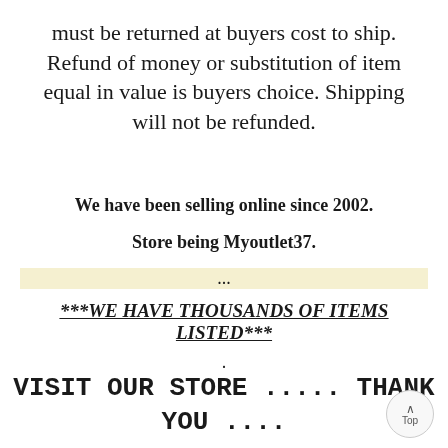must be returned at buyers cost to ship. Refund of money or substitution of item equal in value is buyers choice. Shipping will not be refunded.
We have been selling online since 2002.
Store being Myoutlet37.
...
***WE HAVE THOUSANDS OF ITEMS LISTED***
.
VISIT OUR STORE ..... THANK YOU ....